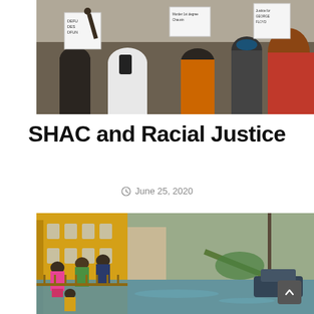[Figure (photo): Crowd of protesters holding signs including 'Defund the Police' and signs referencing George Floyd, viewed from behind]
SHAC and Racial Justice
June 25, 2020
[Figure (photo): Flooded street in a neighborhood with people standing on steps/porches of buildings, a submerged car visible in background, a fallen tree in floodwaters]